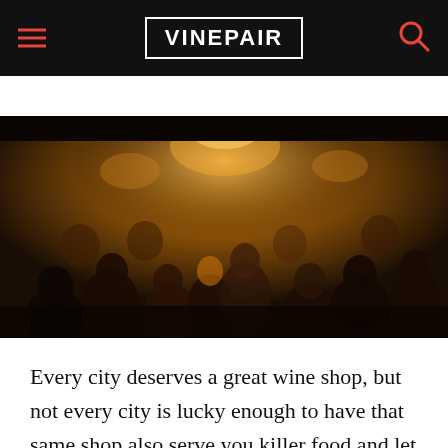VINEPAIR
[Figure (photo): A crowded indoor/outdoor bar or event space at night, people socializing under warm orange/amber lighting, photographed from above at an angle]
Every city deserves a great wine shop, but not every city is lucky enough to have that same shop also serve you killer food and let you hang out in their backyard drinking your recently purchased wine while listening to awesome live music. Yes,